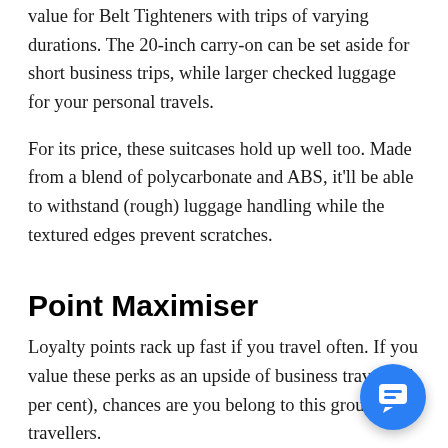value for Belt Tighteners with trips of varying durations. The 20-inch carry-on can be set aside for short business trips, while larger checked luggage for your personal travels.
For its price, these suitcases hold up well too. Made from a blend of polycarbonate and ABS, it'll be able to withstand (rough) luggage handling while the textured edges prevent scratches.
Point Maximiser
Loyalty points rack up fast if you travel often. If you value these perks as an upside of business travel (15 per cent), chances are you belong to this group of travellers.
The Point Maximisers also appreciate comfort: they value